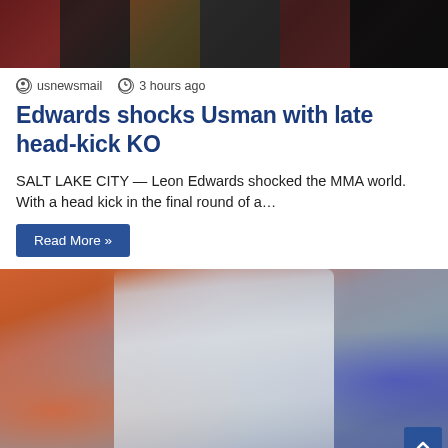[Figure (photo): Sports action photo — two MMA fighters, one in red/black gear, another in dark uniform, partial view cropped at top]
usnewsmail  3 hours ago
Edwards shocks Usman with late head-kick KO
SALT LAKE CITY — Leon Edwards shocked the MMA world. With a head kick in the final round of a…
Read More »
[Figure (photo): Soccer player in grey/white patterned jersey celebrating with mouth open, orange and blue crowd background]